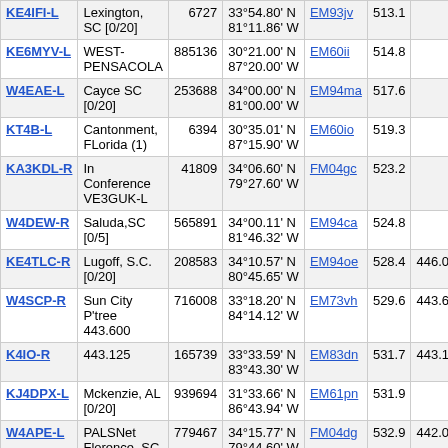| Callsign | Location | ID | Coordinates | Grid | Dist | Freq |
| --- | --- | --- | --- | --- | --- | --- |
| KE4IFI-L | Lexington, SC [0/20] | 6727 | 33°54.80' N 81°11.86' W | EM93jv | 513.1 |  |
| KE6MYV-L | WEST-PENSACOLA | 885136 | 30°21.00' N 87°20.00' W | EM60ii | 514.8 |  |
| W4EAE-L | Cayce SC [0/20] | 253688 | 34°00.00' N 81°00.00' W | EM94ma | 517.6 |  |
| KT4B-L | Cantonment, FLorida (1) | 6394 | 30°35.01' N 87°15.90' W | EM60io | 519.3 |  |
| KA3KDL-R | In Conference VE3GUK-L | 41809 | 34°06.60' N 79°27.60' W | FM04gc | 523.2 |  |
| W4DEW-R | Saluda,SC [0/5] | 565891 | 34°00.11' N 81°46.32' W | EM94ca | 524.8 |  |
| KE4TLC-R | Lugoff, S.C. [0/20] | 208583 | 34°10.57' N 80°45.65' W | EM94oe | 528.4 | 446.0 |
| W4SCP-R | Sun City P'tree 443.600 | 716008 | 33°18.20' N 84°14.12' W | EM73vh | 529.6 | 443.6 |
| K4IO-R | 443.125 | 165739 | 33°33.59' N 83°43.30' W | EM83dn | 531.7 | 443.1 |
| KJ4DPX-L | Mckenzie, AL [0/20] | 939694 | 31°33.66' N 86°43.94' W | EM61pn | 531.9 |  |
| W4APE-L | PALSNet Florence, SC | 779467 | 34°15.77' N 79°44.60' W | FM04dg | 532.9 | 442.0 |
| KE4JRM-L | Honoraville, AL USA [0/10] | 730407 | 31°54.80' N 86°25.50' W | EM61sv | 534.0 |  |
| KO4ACL-L | Brewton, AL 147.075 MHz | 572138 | 31°10.51' N 87°07.22' W | EM61ke | 534.2 |  |